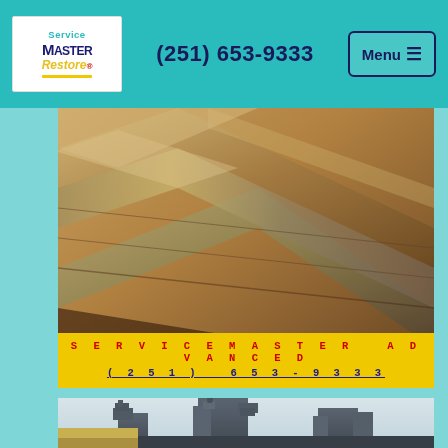(251) 653-9333
[Figure (logo): ServiceMaster Restore logo]
[Figure (photo): Close-up photo of escalator metal handrails and steps, warm metallic tones]
SERVICEMASTER ADVANCED
(251) 653-9333
[Figure (photo): Photo of a military battleship superstructure against a light sky, dark blue-grey tones]